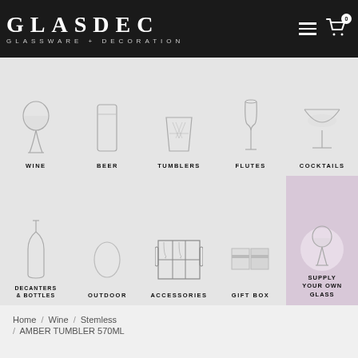GLASDEC GLASSWARE + DECORATION
[Figure (infographic): Navigation category grid with glassware icons: WINE, BEER, TUMBLERS, FLUTES, COCKTAILS, DECANTERS & BOTTLES, OUTDOOR, ACCESSORIES, GIFT BOX, SUPPLY YOUR OWN GLASS]
Home / Wine / Stemless / AMBER TUMBLER 570ML